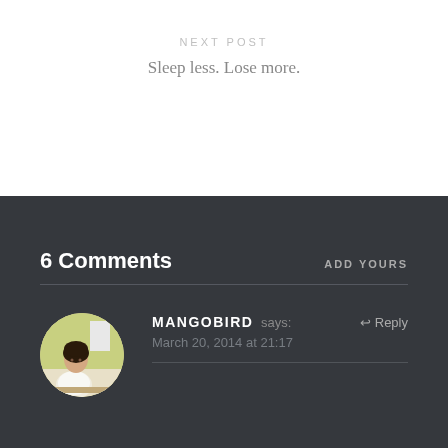NEXT POST
Sleep less. Lose more.
6 Comments
ADD YOURS
[Figure (photo): Circular avatar photo of a person (woman) sitting at a desk, wearing a white top, in a room with yellow/green wall background]
MANGOBIRD says:
↩ Reply
March 20, 2014 at 21:17